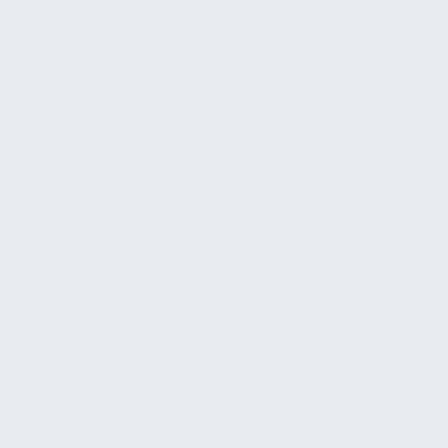industry, refining a majority of the world's gold, as well as being the leading exporter. But how seriously does the country take its responsibility to ensure sustainable mining and the protection of human rights? "This